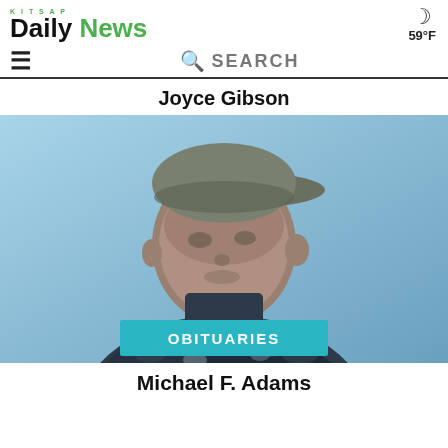Kitsap Daily News
59°F
☰  🔍 SEARCH
Joyce Gibson
[Figure (photo): Outdoor photograph of a man wearing a dark navy work jacket and a grey cap, photographed against a blue sky background. A teal banner at the bottom reads OBITUARIES.]
Michael F. Adams